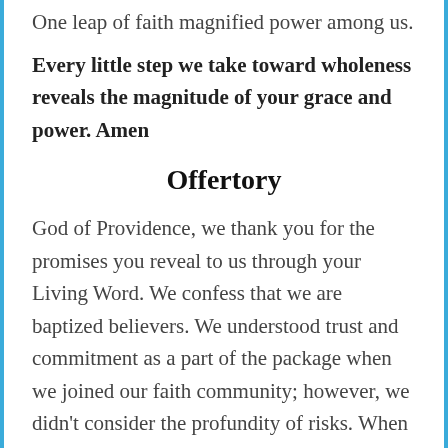One leap of faith magnified power among us.
Every little step we take toward wholeness reveals the magnitude of your grace and power. Amen
Offertory
God of Providence, we thank you for the promises you reveal to us through your Living Word. We confess that we are baptized believers. We understood trust and commitment as a part of the package when we joined our faith community; however, we didn't consider the profundity of risks. When the...